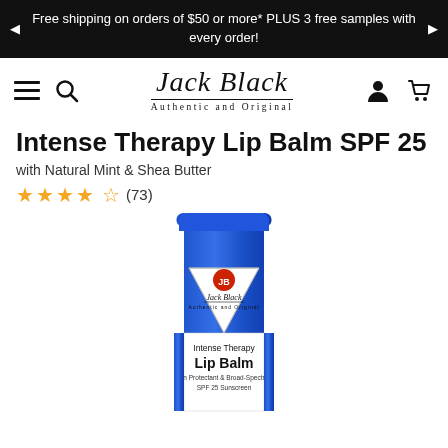Free shipping on orders of $50 or more* PLUS 3 free samples with every order!
[Figure (logo): Jack Black brand logo with script text 'Jack Black' and subtitle 'Authentic and Original']
Intense Therapy Lip Balm SPF 25
with Natural Mint & Shea Butter
★★★★☆ (73)
[Figure (photo): Blue squeeze tube of Jack Black Intense Therapy Lip Balm SPF 25 with white triangular label showing 'JB' logo, 'Jack Black Authentic and Original', 'Intense Therapy Lip Balm', 'Skin Protectant & Broad-Spectrum SPF 25 Sunscreen']